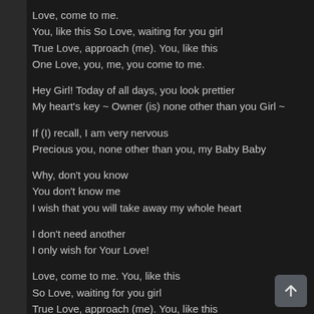Love, come to me.
You, like this So Love, waiting for you girl
True Love, approach (me). You, like this
One Love, you, me, you come to me.
Hey Girl! Today of all days, you look prettier
My heart's key ~ Owner (is) none other than you Girl ~
If (I) recall, I am very nervous
Precious you, none other than you, my Baby Baby
Why, don't you know
You don't know me
I wish that you will take away my whole heart
I don't need another
I only wish for Your Love!
Love, come to me. You, like this
So Love, waiting for you girl
True Love, approach (me). You, like this
One Love, you, me, you come to me.